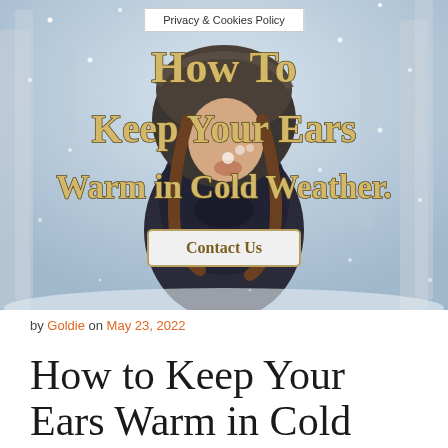Privacy & Cookies Policy
[Figure (photo): A child wearing a fur-trimmed winter coat hood in a snowy scene, blowing snow from their hands. Overlaid text reads 'How To Keep Your Ears Warm in Cold Weather.' with a Contact Us button.]
by Goldie on May 23, 2022
How to Keep Your Ears Warm in Cold